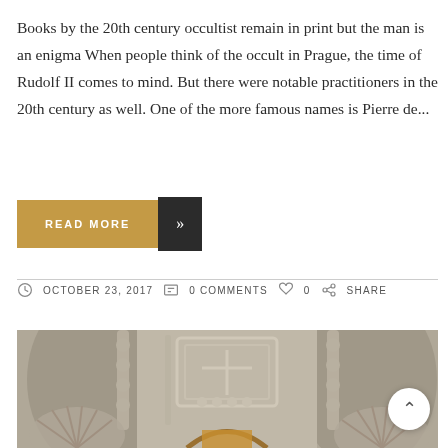Books by the 20th century occultist remain in print but the man is an enigma When people think of the occult in Prague, the time of Rudolf II comes to mind. But there were notable practitioners in the 20th century as well. One of the more famous names is Pierre de...
[Figure (other): A READ MORE button in golden/tan color with a dark arrow chevron button on the right side]
OCTOBER 23, 2017   0 COMMENTS   0   SHARE
[Figure (photo): Interior of an ornate church or ossuary decorated with bones and skulls, featuring garlands of bones, a central coat of arms made of bones, and Gothic architectural elements with golden altar visible below]